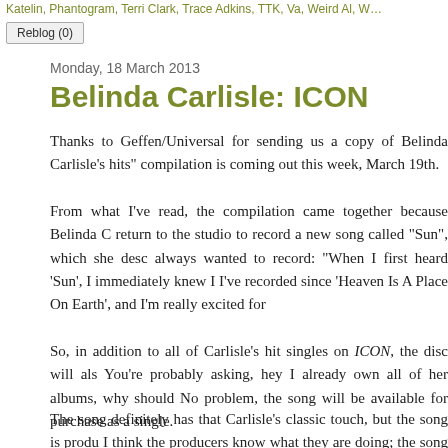Katelin, Phantogram, Terri Clark, Trace Adkins, TTK, Va, Weird Al, W…
Reblog (0)
Monday, 18 March 2013
Belinda Carlisle: ICON
Thanks to Geffen/Universal for sending us a copy of Belinda Carlisle's hits" compilation is coming out this week, March 19th.
From what I've read, the compilation came together because Belinda C return to the studio to record a new song called "Sun", which she desc always wanted to record: "When I first heard 'Sun', I immediately knew I I've recorded since 'Heaven Is A Place On Earth', and I'm really excited for
So, in addition to all of Carlisle's hit singles on ICON, the disc will als You're probably asking, hey I already own all of her albums, why should No problem, the song will be available for purchase as a single.
The song definitely has that Carlisle's classic touch, but the song is produ I think the producers know what they are doing; the song will probably be